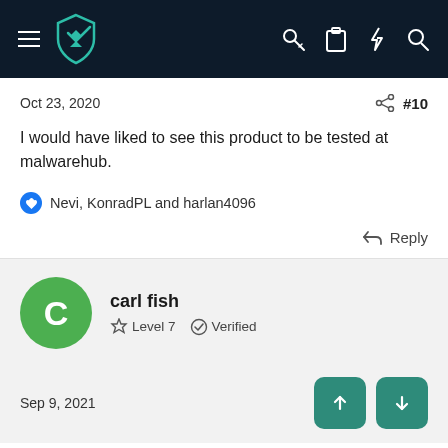[Figure (screenshot): Navigation bar with hamburger menu, teal shield logo, and icons for key, clipboard, lightning, and search on dark navy background]
Oct 23, 2020
#10
I would have liked to see this product to be tested at malwarehub.
Nevi, KonradPL and harlan4096
Reply
carl fish
Level 7   Verified
Sep 9, 2021